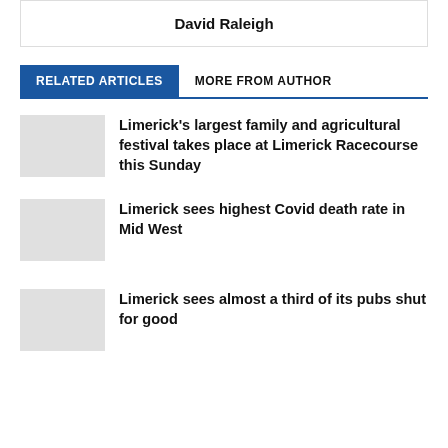David Raleigh
RELATED ARTICLES   MORE FROM AUTHOR
Limerick’s largest family and agricultural festival takes place at Limerick Racecourse this Sunday
Limerick sees highest Covid death rate in Mid West
Limerick sees almost a third of its pubs shut for good